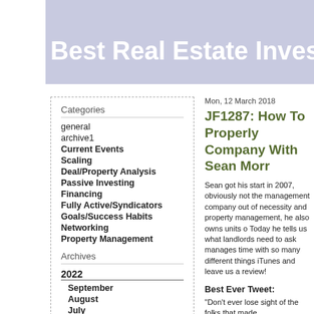Best Real Estate Investing
Categories
general
archive1
Current Events
Scaling
Deal/Property Analysis
Passive Investing
Financing
Fully Active/Syndicators
Goals/Success Habits
Networking
Property Management
Archives
2022
September
August
July
June
May
Mon, 12 March 2018
JF1287: How To Properly Company With Sean Morr
Sean got his start in 2007, obviously not the management company out of necessity and property management, he also owns units o Today he tells us what landlords need to ask manages time with so many different things iTunes and leave us a review!
Best Ever Tweet:
“Don’t ever lose sight of the folks that made
Sean Morrissey Real Estate Background:
-Owner/Broker at Chicagoland Realty Group
-Current landlord, property manager, and rea
-Performed real estate related activity for 14